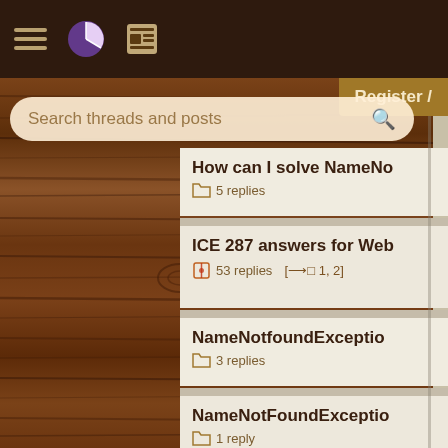[Figure (screenshot): Dark brown navigation bar with hamburger menu icon, pie/book icon, and news icon]
[Figure (screenshot): Register button (golden-brown) top right]
Search threads and posts
[Figure (screenshot): Wood-grain textured left panel background]
How can I solve NameNo... | 5 replies
ICE 287 answers for Web... | 53 replies | [→□ 1, 2]
NameNotFoundException... | 3 replies
NameNotFoundException... | 1 reply
488/158 ICE questions &... | 8 replies